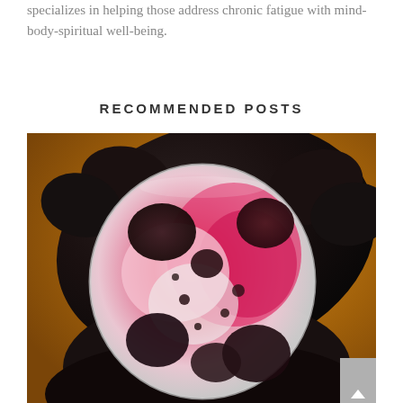specializes in helping those address chronic fatigue with mind-body-spiritual well-being.
RECOMMENDED POSTS
[Figure (photo): A gloved hand (black latex glove) holding a petri dish containing bacterial colonies growing on pink/magenta agar medium, with dark colonies visible against a warm amber/brown background.]